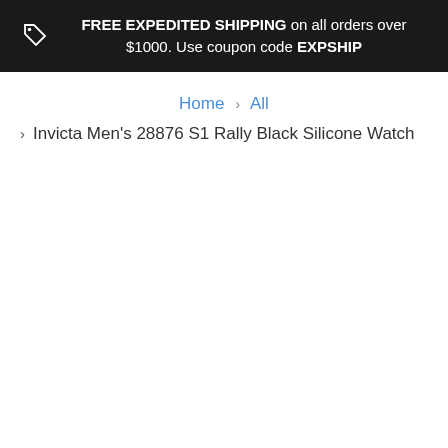FREE EXPEDITED SHIPPING on all orders over $1000. Use coupon code EXPSHIP
Home > All
> Invicta Men's 28876 S1 Rally Black Silicone Watch